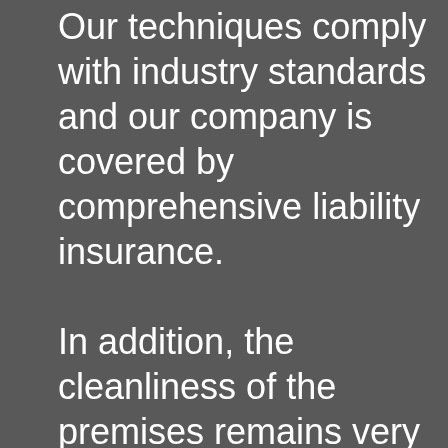Our techniques comply with industry standards and our company is covered by comprehensive liability insurance.

In addition, the cleanliness of the premises remains very important for our team. This is why we make sure